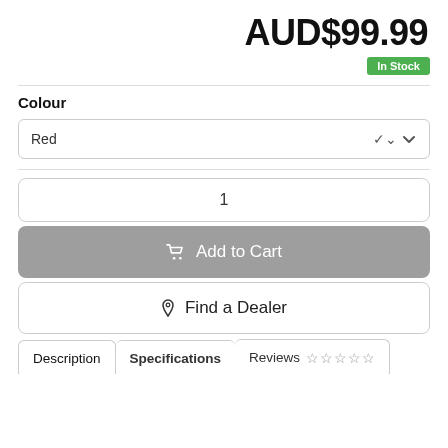AUD$99.99
In Stock
Colour
Red
1
Add to Cart
Find a Dealer
Description
Specifications
Reviews ☆☆☆☆☆